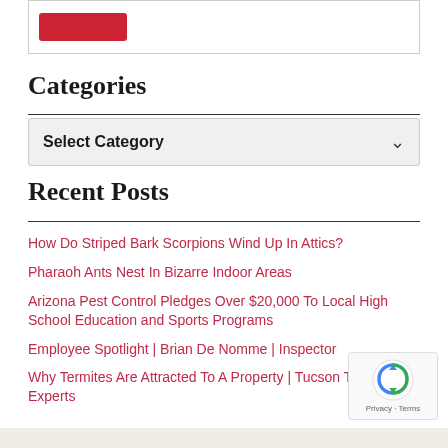[Figure (other): Red button element inside a bordered box at top of sidebar]
Categories
Select Category
Recent Posts
How Do Striped Bark Scorpions Wind Up In Attics?
Pharaoh Ants Nest In Bizarre Indoor Areas
Arizona Pest Control Pledges Over $20,000 To Local High School Education and Sports Programs
Employee Spotlight | Brian De Nomme | Inspector
Why Termites Are Attracted To A Property | Tucson Termite Experts